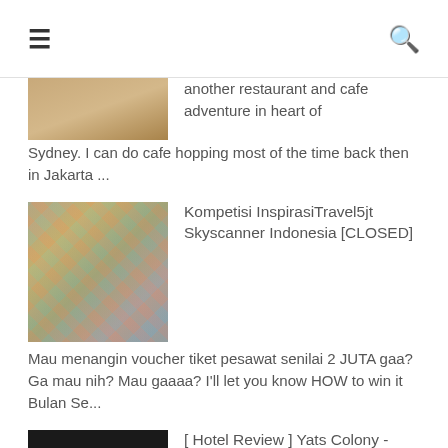≡  🔍
[Figure (photo): Partial food/cafe thumbnail at top left, cropped]
another restaurant and cafe adventure in heart of Sydney. I can do cafe hopping most of the time back then in Jakarta ...
[Figure (photo): Mosaic collage of travel postcards/stickers thumbnail]
Kompetisi InspirasiTravel5jt Skyscanner Indonesia [CLOSED]
Mau menangin voucher tiket pesawat senilai 2 JUTA gaa? Ga mau nih? Mau gaaaa? I'll let you know HOW to win it Bulan Se...
[Figure (photo): Hotel sign photo showing Yats Colony logo on dark background]
[ Hotel Review ] Yats Colony - Yogyakarta
Akhirnya setelah 2 tahun, saya kembali lagi